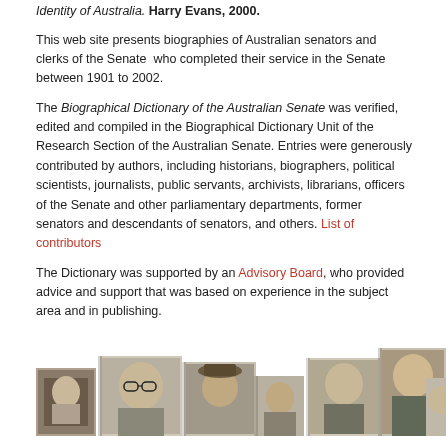Identity of Australia. Harry Evans, 2000.
This web site presents biographies of Australian senators and clerks of the Senate who completed their service in the Senate between 1901 to 2002.
The Biographical Dictionary of the Australian Senate was verified, edited and compiled in the Biographical Dictionary Unit of the Research Section of the Australian Senate. Entries were generously contributed by authors, including historians, biographers, political scientists, journalists, public servants, archivists, librarians, officers of the Senate and other parliamentary departments, former senators and descendants of senators, and others. List of contributors
The Dictionary was supported by an Advisory Board, who provided advice and support that was based on experience in the subject area and in publishing.
[Figure (photo): A horizontal strip of black and white portrait photographs of various Australian senators]